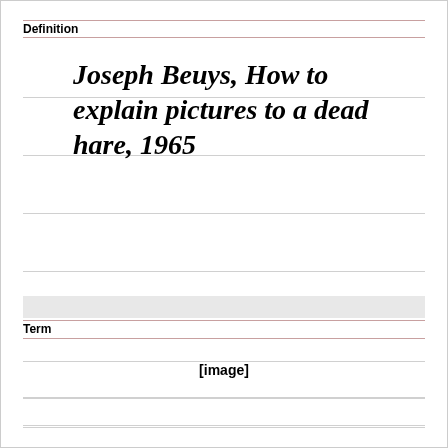Definition
Joseph Beuys, How to explain pictures to a dead hare, 1965
Term
[Figure (other): [image] placeholder in Term section]